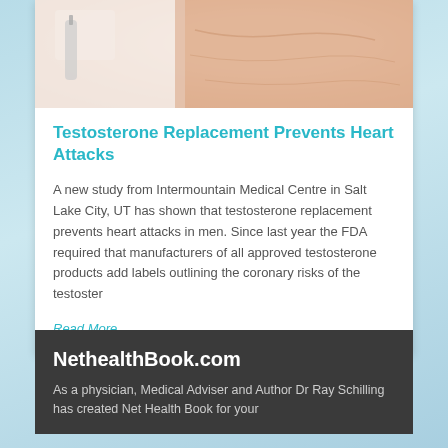[Figure (photo): Close-up photo of a person injecting testosterone or medication into their skin/body]
Testosterone Replacement Prevents Heart Attacks
A new study from Intermountain Medical Centre in Salt Lake City, UT has shown that testosterone replacement prevents heart attacks in men. Since last year the FDA required that manufacturers of all approved testosterone products add labels outlining the coronary risks of the testoster
Read More
NethealthBook.com
As a physician, Medical Adviser and Author Dr Ray Schilling has created Net Health Book for your